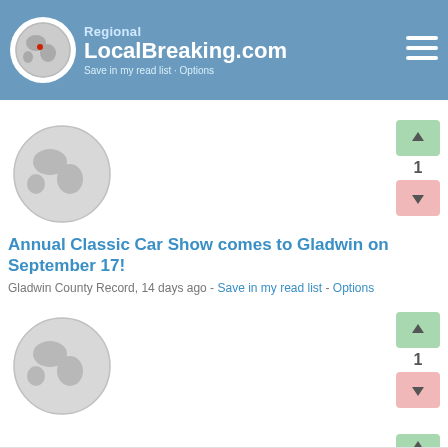Regional LocalBreaking.com — Save in my read list · Options
Annual Classic Car Show comes to Gladwin on September 17!
Gladwin County Record, 14 days ago - Save in my read list - Options
Disability Network of Mid-Michigan sets up shop at the Arnold Center
Gladwin County Record, 14 days ago - Save in my read list - Options
[Figure (other): Globe icon placeholder thumbnail for third article]